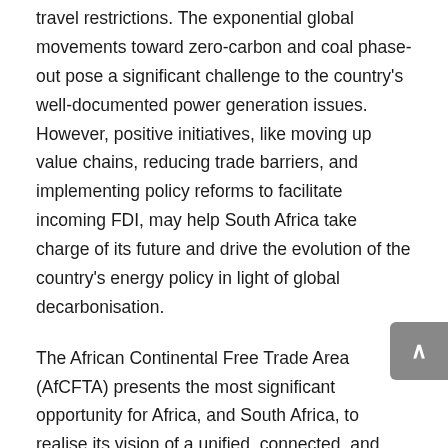travel restrictions. The exponential global movements toward zero-carbon and coal phase-out pose a significant challenge to the country's well-documented power generation issues. However, positive initiatives, like moving up value chains, reducing trade barriers, and implementing policy reforms to facilitate incoming FDI, may help South Africa take charge of its future and drive the evolution of the country's energy policy in light of global decarbonisation.
The African Continental Free Trade Area (AfCFTA) presents the most significant opportunity for Africa, and South Africa, to realise its vision of a unified, connected, and thriving continent. It will contribute to the resolution of issues impacting trade growth, industrialisation, and infrastructure development –